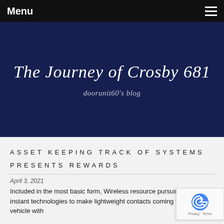Menu
The Journey of Crosby 681
doorunit60's blog
ASSET KEEPING TRACK OF SYSTEMS PRESENTS REWARDS
April 3, 2021
Included in the most basic form, Wireless resource pursuing functions instant technologies to make lightweight contacts coming from a motor vehicle with